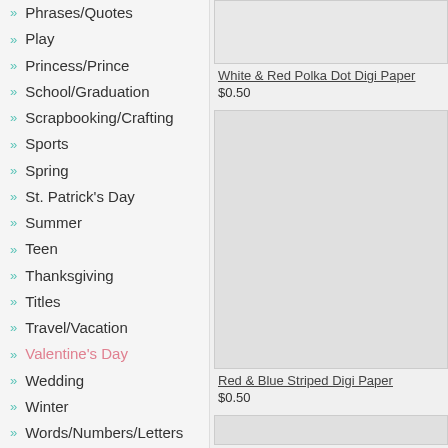Phrases/Quotes
Play
Princess/Prince
School/Graduation
Scrapbooking/Crafting
Sports
Spring
St. Patrick's Day
Summer
Teen
Thanksgiving
Titles
Travel/Vacation
Valentine's Day
Wedding
Winter
Words/Numbers/Letters
Zoo/Wild Animals
Miscellaneous
[Figure (photo): White & Red Polka Dot Digi Paper product image (partial, cropped at top)]
White & Red Polka Dot Digi Paper
$0.50
[Figure (photo): Red & Blue Striped Digi Paper product image]
Red & Blue Striped Digi Paper
$0.50
[Figure (photo): Third product image (partially visible at bottom)]